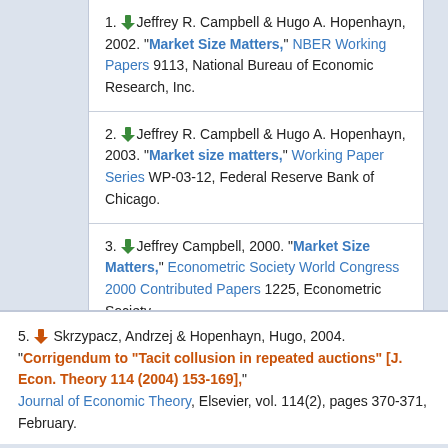1. Jeffrey R. Campbell & Hugo A. Hopenhayn, 2002. "Market Size Matters," NBER Working Papers 9113, National Bureau of Economic Research, Inc.
2. Jeffrey R. Campbell & Hugo A. Hopenhayn, 2003. "Market size matters," Working Paper Series WP-03-12, Federal Reserve Bank of Chicago.
3. Jeffrey Campbell, 2000. "Market Size Matters," Econometric Society World Congress 2000 Contributed Papers 1225, Econometric Society.
5. Skrzypacz, Andrzej & Hopenhayn, Hugo, 2004. "Corrigendum to "Tacit collusion in repeated auctions" [J. Econ. Theory 114 (2004) 153-169]," Journal of Economic Theory, Elsevier, vol. 114(2), pages 370-371, February.